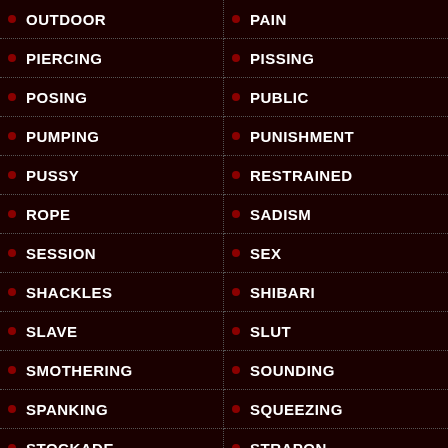OUTDOOR
PAIN
PIERCING
PISSING
POSING
PUBLIC
PUMPING
PUNISHMENT
PUSSY
RESTRAINED
ROPE
SADISM
SESSION
SEX
SHACKLES
SHIBARI
SLAVE
SLUT
SMOTHERING
SOUNDING
SPANKING
SQUEEZING
STOCKADE
STRAPON
SUBMISSION
SUBMISSIVE
SUCKING
SUFFERING